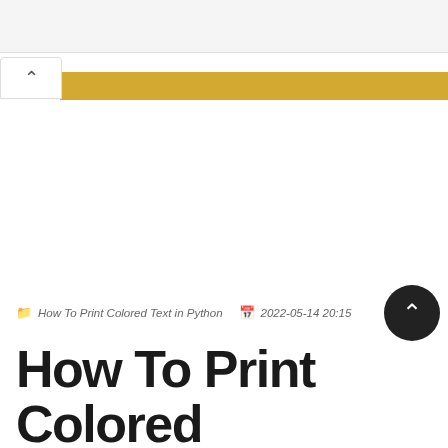How To Print Colored Text in Python  2022-05-14 20:15
How To Print Colored